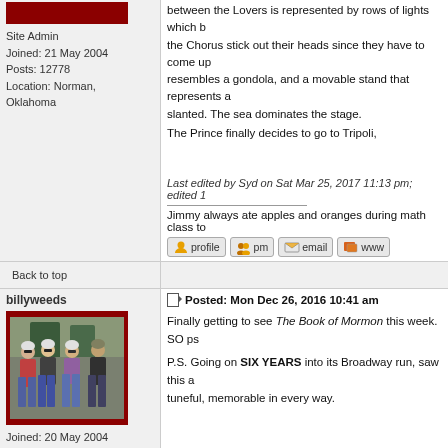Site Admin
Joined: 21 May 2004
Posts: 12778
Location: Norman, Oklahoma
between the Lovers is represented by rows of lights which b... the Chorus stick out their heads since they have to come up... resembles a gondola, and a movable stand that represents a... slanted. The sea dominates the stage.

The Prince finally decides to go to Tripoli,
Last edited by Syd on Sat Mar 25, 2017 11:13 pm; edited 1
Jimmy always ate apples and oranges during math class to
Back to top
[Figure (screenshot): Action buttons: profile, pm, email, www]
billyweeds
Posted: Mon Dec 26, 2016 10:41 am
[Figure (photo): Photo of four people standing together outdoors, framed with dark red border]
Joined: 20 May 2004
Posts: 20613
Location: New York City
Finally getting to see The Book of Mormon this week. SO ps...

P.S. Going on SIX YEARS into its Broadway run, saw this a... tuneful, memorable in every way.
Back to top
[Figure (screenshot): Action buttons: profile, pm, email]